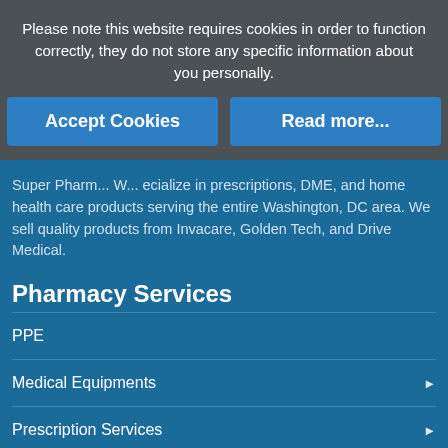Please note this website requires cookies in order to function correctly, they do not store any specific information about you personally.
Accept Cookies
Read more...
Super Pharm... We specialize in prescriptions, DME, and home health care products serving the entire Washington, DC area. We sell quality products from Invacare, Golden Tech, and Drive Medical.
Pharmacy Services
PPE
Medical Equipments
Prescription Services
My Account
Contact